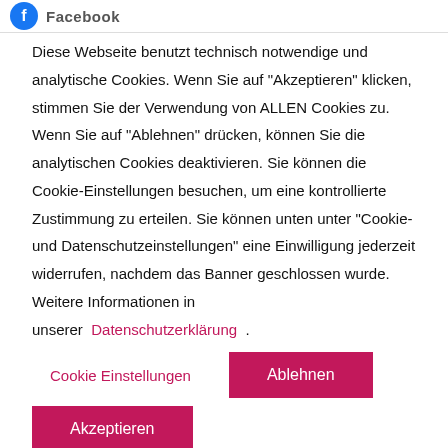[Figure (logo): Facebook icon — blue circle with white 'f' letter, followed by 'Facebook' text label]
Diese Webseite benutzt technisch notwendige und analytische Cookies. Wenn Sie auf "Akzeptieren" klicken, stimmen Sie der Verwendung von ALLEN Cookies zu. Wenn Sie auf "Ablehnen" drücken, können Sie die analytischen Cookies deaktivieren. Sie können die Cookie-Einstellungen besuchen, um eine kontrollierte Zustimmung zu erteilen. Sie können unten unter "Cookie- und Datenschutzeinstellungen" eine Einwilligung jederzeit widerrufen, nachdem das Banner geschlossen wurde. Weitere Informationen in unserer Datenschutzerklärung.
Cookie Einstellungen
Ablehnen
Akzeptieren